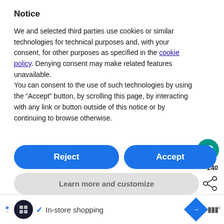Notice
We and selected third parties use cookies or similar technologies for technical purposes and, with your consent, for other purposes as specified in the cookie policy. Denying consent may make related features unavailable.
You can consent to the use of such technologies by using the “Accept” button, by scrolling this page, by interacting with any link or button outside of this notice or by continuing to browse otherwise.
[Figure (screenshot): Cookie consent dialog with Reject and Accept buttons (blue pill-shaped), Learn more and customize button (gray pill-shaped), a teal heart icon with count 240, a share icon, a What's Next panel with image and text '7 Simple Tips to Raise...', and a bottom text 'appealing, but also fraught with an element of' and an ad bar with in-store shopping icons]